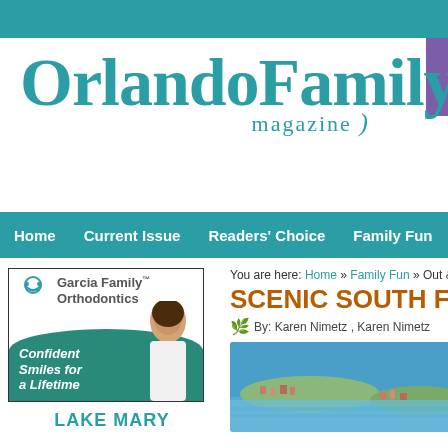Orlando Family magazine
Home  Current Issue  Readers' Choice  Family Fun
[Figure (illustration): Garcia Family Orthodontics advertisement with woman in white coat, teal background, italic text 'Confident Smiles for a Lifetime']
LAKE MARY
You are here: Home » Family Fun » Out & A
SCENIC SOUTH FLO
By: Karen Nimetz , Karen Nimetz
[Figure (photo): Aerial photo of scenic South Florida coastline with blue water and residential areas]